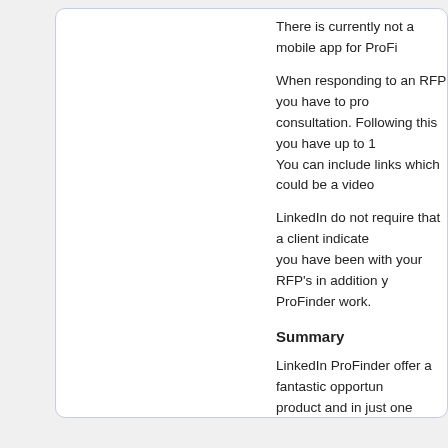There is currently not a mobile app for ProFi
When responding to an RFP you have to provide a consultation. Following this you have up to 1 You can include links which could be a video
LinkedIn do not require that a client indicate you have been with your RFP's in addition y ProFinder work.
Summary
LinkedIn ProFinder offer a fantastic opportun product and in just one conversation I can se ProFinder has been in existence for a couple the US…if ever.
If you are in the US, I strongly recommend y outsource certain specialist projects and if y
Direct download: LinkedInformed_211.mp3
Category:general -- posted at: 11:30am UTC